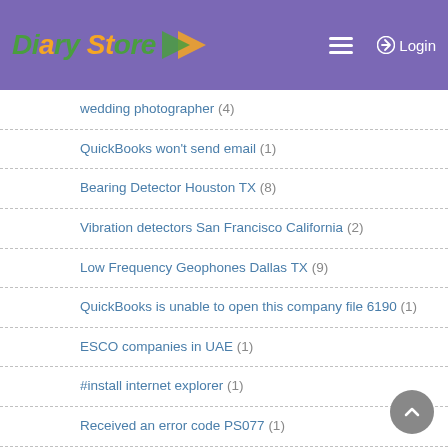Diary Store — Login
wedding photographer (4)
QuickBooks won't send email (1)
Bearing Detector Houston TX (8)
Vibration detectors San Francisco California (2)
Low Frequency Geophones Dallas TX (9)
QuickBooks is unable to open this company file 6190 (1)
ESCO companies in UAE (1)
#install internet explorer (1)
Received an error code PS077 (1)
Intuit quickbooks +1 (213) 294-7218 customer care number US (1)
quickbooks error code 14106 (1)